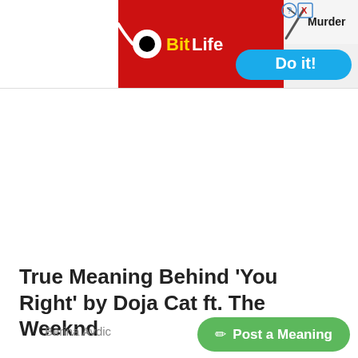[Figure (screenshot): BitLife mobile game advertisement banner with red background, BitLife logo on left, 'Murder' text and 'Do it!' blue pill button on right, with close button (question mark and X icons)]
True Meaning Behind 'You Right' by Doja Cat ft. The Weeknd
Berina Avdic
Post a Meaning